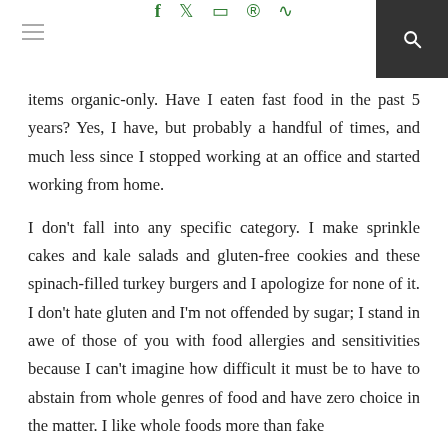f  ✦  ⊡  ®  ⊃  🔍
items organic-only. Have I eaten fast food in the past 5 years? Yes, I have, but probably a handful of times, and much less since I stopped working at an office and started working from home.
I don't fall into any specific category. I make sprinkle cakes and kale salads and gluten-free cookies and these spinach-filled turkey burgers and I apologize for none of it. I don't hate gluten and I'm not offended by sugar; I stand in awe of those of you with food allergies and sensitivities because I can't imagine how difficult it must be to have to abstain from whole genres of food and have zero choice in the matter. I like whole foods more than fake